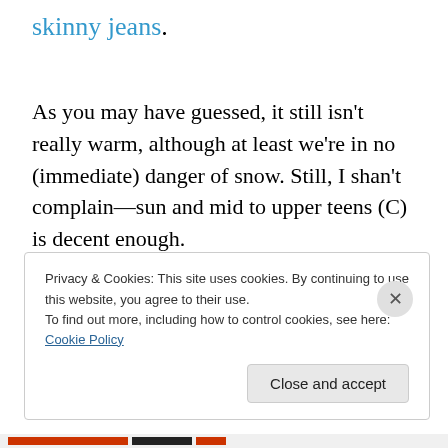skinny jeans.
As you may have guessed, it still isn't really warm, although at least we're in no (immediate) danger of snow. Still, I shan't complain—sun and mid to upper teens (C) is decent enough.
It does appear that someone's been working some arcane rituals in the back yard, however. Maybe that will be more effective in bringing on the nice weather than all my
Privacy & Cookies: This site uses cookies. By continuing to use this website, you agree to their use.
To find out more, including how to control cookies, see here: Cookie Policy